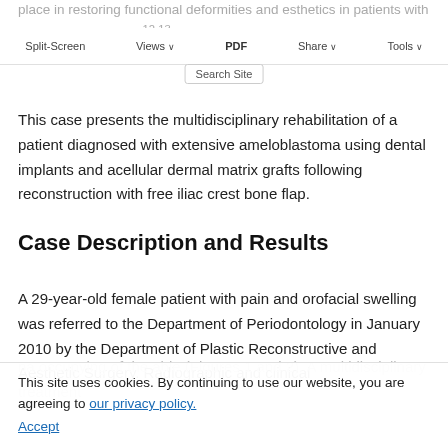place in restoring functional deformities and esthetics in patients with maxillofacial defects.
Split-Screen | Views | PDF | Share | Tools | Search Site
This case presents the multidisciplinary rehabilitation of a patient diagnosed with extensive ameloblastoma using dental implants and acellular dermal matrix grafts following reconstruction with free iliac crest bone flap.
Case Description and Results
A 29-year-old female patient with pain and orofacial swelling was referred to the Department of Periodontology in January 2010 by the Department of Plastic Reconstructive and Aesthetic Surgery. Radiographic and clinical
na occupying of the able (Figures 1 and 2). A multidisciplinary treatment
This site uses cookies. By continuing to use our website, you are agreeing to our privacy policy. Accept